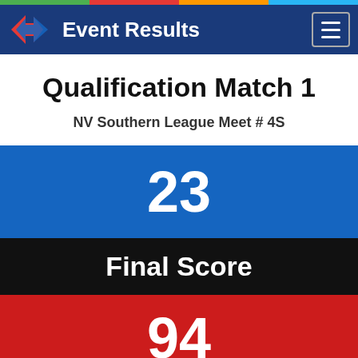Event Results
Qualification Match 1
NV Southern League Meet # 4S
23
Final Score
94
Autonomous
14532·   14194·